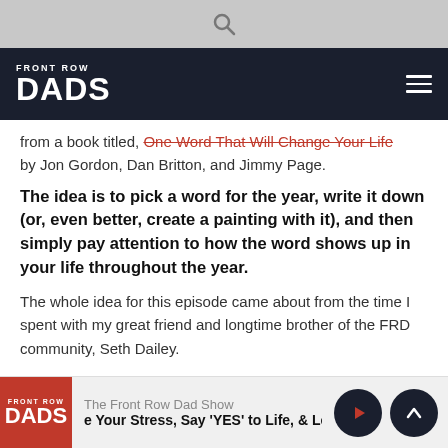Front Row Dads navigation header with logo and hamburger menu
from a book titled, One Word That Will Change Your Life by Jon Gordon, Dan Britton, and Jimmy Page.
The idea is to pick a word for the year, write it down (or, even better, create a painting with it), and then simply pay attention to how the word shows up in your life throughout the year.
The whole idea for this episode came about from the time I spent with my great friend and longtime brother of the FRD community, Seth Dailey.
The Front Row Dad Show — e Your Stress, Say 'YES' to Life, & Le